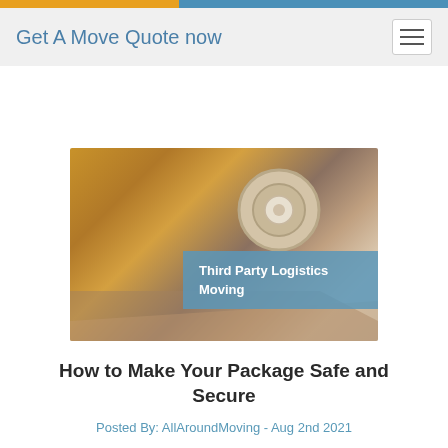Get A Move Quote now
[Figure (photo): Close-up photo of a roll of tape on a cardboard box, with a blue overlay label reading 'Third Party Logistics Moving']
How to Make Your Package Safe and Secure
Posted By: AllAroundMoving - Aug 2nd 2021